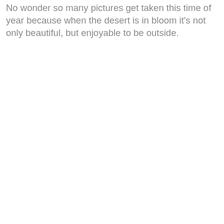No wonder so many pictures get taken this time of year because when the desert is in bloom it's not only beautiful, but enjoyable to be outside.